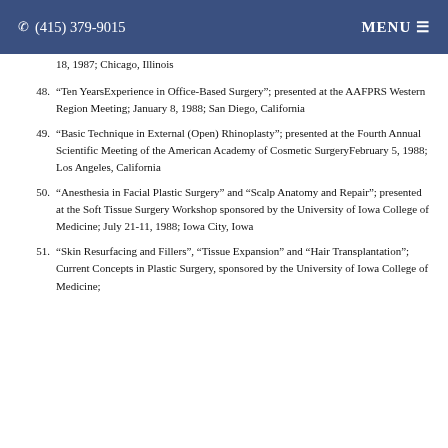(415) 379-9015  MENU
18, 1987; Chicago, Illinois
48. “Ten YearsExperience in Office-Based Surgery”; presented at the AAFPRS Western Region Meeting; January 8, 1988; San Diego, California
49. “Basic Technique in External (Open) Rhinoplasty”; presented at the Fourth Annual Scientific Meeting of the American Academy of Cosmetic SurgeryFebruary 5, 1988; Los Angeles, California
50. “Anesthesia in Facial Plastic Surgery” and “Scalp Anatomy and Repair”; presented at the Soft Tissue Surgery Workshop sponsored by the University of Iowa College of Medicine; July 21-11, 1988; Iowa City, Iowa
51. “Skin Resurfacing and Fillers”, “Tissue Expansion” and “Hair Transplantation”; Current Concepts in Plastic Surgery, sponsored by the University of Iowa College of Medicine;